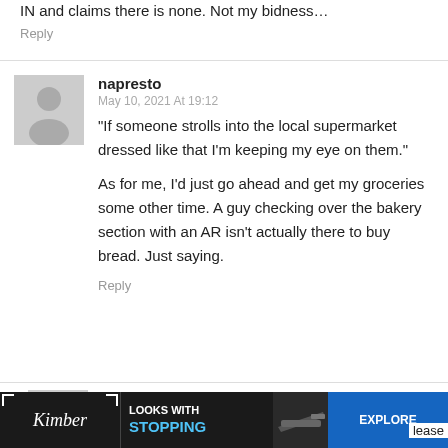IN and claims there is none. Not my bidness…
Reply
napresto
May 10, 2021 At 19:12

"If someone strolls into the local supermarket dressed like that I'm keeping my eye on them."

As for me, I'd just go ahead and get my groceries some other time. A guy checking over the bakery section with an AR isn't actually there to buy bread. Just saying.

Reply
David Walters
May 11, 2021 At 10:30
[Figure (infographic): Advertisement banner for Kimber with text 'LOOKS WITH STOPPING' and 'EXPLORE' on blue background, with a partial image of a firearm]